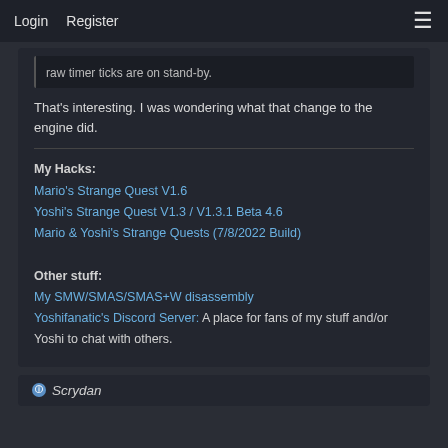Login   Register   ≡
raw timer ticks are on stand-by.
That's interesting. I was wondering what that change to the engine did.
My Hacks:
Mario's Strange Quest V1.6
Yoshi's Strange Quest V1.3 / V1.3.1 Beta 4.6
Mario & Yoshi's Strange Quests (7/8/2022 Build)

Other stuff:
My SMW/SMAS/SMAS+W disassembly
Yoshifanatic's Discord Server: A place for fans of my stuff and/or Yoshi to chat with others.
Scrydan